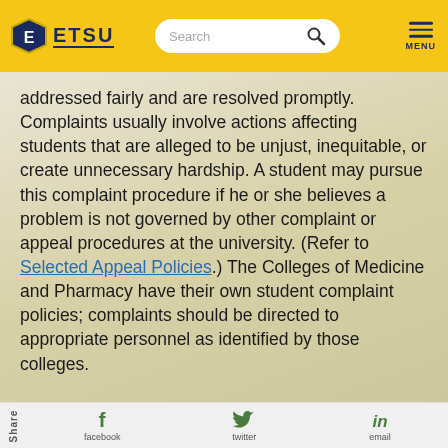ETSU — Search — MENU
addressed fairly and are resolved promptly. Complaints usually involve actions affecting students that are alleged to be unjust, inequitable, or create unnecessary hardship. A student may pursue this complaint procedure if he or she believes a problem is not governed by other complaint or appeal procedures at the university. (Refer to Selected Appeal Policies.) The Colleges of Medicine and Pharmacy have their own student complaint policies; complaints should be directed to appropriate personnel as identified by those colleges.
Share  facebook  twitter  email